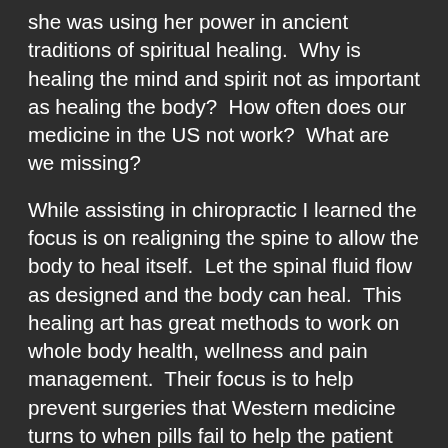she was using her power in ancient traditions of spiritual healing.  Why is healing the mind and spirit not as important as healing the body?  How often does our medicine in the US not work?  What are we missing?
While assisting in chiropractic I learned the focus is on realigning the spine to allow the body to heal itself.  Let the spinal fluid flow as designed and the body can heal.  This healing art has great methods to work on whole body health, wellness and pain management.  Their focus is to help prevent surgeries that Western medicine turns to when pills fail to help the patient feel better.   A good chiropractor also works with a client on muscle strength and flexibilty to prevent future injury.  They focus on helping the muscle to repair from the injury and maintain the structural balance of the body.  While fascinating and a valid healing in the right hands, I still felt this was missing a huge piece of the healing people needed.  This